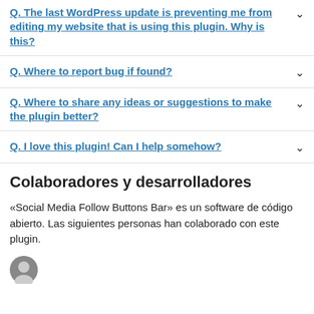Q. The last WordPress update is preventing me from editing my website that is using this plugin. Why is this?
Q. Where to report bug if found?
Q. Where to share any ideas or suggestions to make the plugin better?
Q. I love this plugin! Can I help somehow?
Colaboradores y desarrolladores
«Social Media Follow Buttons Bar» es un software de código abierto. Las siguientes personas han colaborado con este plugin.
[Figure (illustration): Partial view of a circular avatar/profile image]